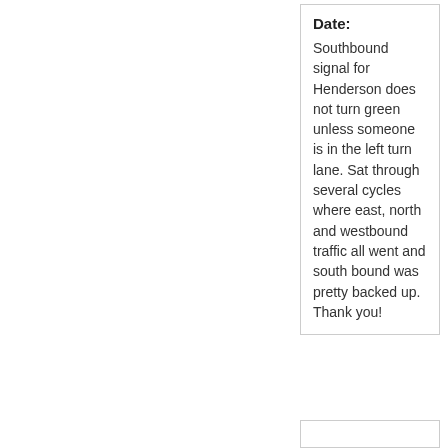Date:
Southbound signal for Henderson does not turn green unless someone is in the left turn lane. Sat through several cycles where east, north and westbound traffic all went and south bound was pretty backed up. Thank you!